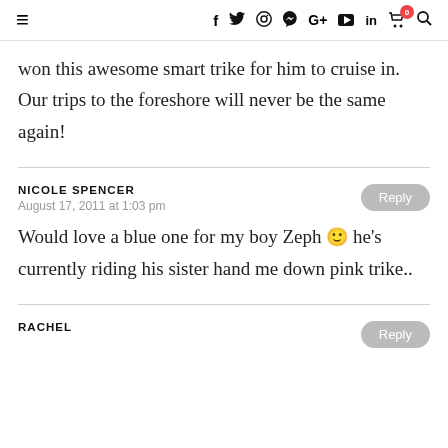≡   f  Twitter  Instagram  Pinterest  G+  YouTube  in  Cart(0)  Search
won this awesome smart trike for him to cruise in. Our trips to the foreshore will never be the same again!
NICOLE SPENCER
August 17, 2011 at 1:03 pm
Would love a blue one for my boy Zeph 🙂 he's currently riding his sister hand me down pink trike..
RACHEL